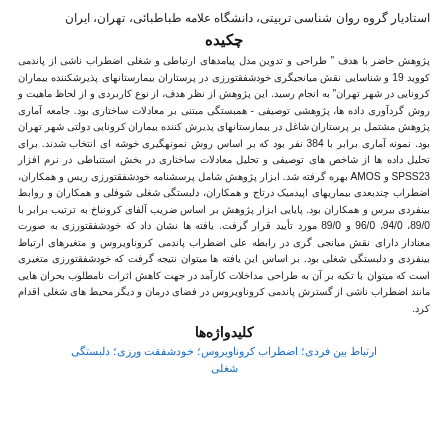استادیار گروه روان شناسی تربیتی، دانشگاه علامه طباطبائی، تهران، ایران
چکیده
پژوهش حاضر با هدف " طراحی و تدوین مدل پیامدهای ارتباطی و شغلی اضطراب ناشی از پاندمی کووید 19 و شناسایی نقش میانجیگری خودشفقتورزی در پرستاران بیمارستانهای پذیرشکننده بیماران کرونایی در شهر تهران" به انجام رسید. این پژوهش از نظر هدف، از نوع کاربردی و از لحاظ ماهیت و روش گردآوری داده ها، پژوهشی توصیفی - همبستگی مبتنی بر معادلات ساختاری بود. جامعه آماری پژوهش مشتمل بر پرستاران شاغل در بیمارستانهای پذیرش کننده بیماران کرونایی دولتی شهر تهران بود. نمونه آماری برابر با 384 نفر بود که بر اساس روش نمونهگیری خوشه ای انتخاب شدند. برای تحلیل داده ها از شاخص های توصیفی و تحلیل معادلات ساختاری در بخش استنباطی در نرم افزار SPSS23 و AMOS بهره گرفته شد. ابزار پژوهش شامل پرسشنامه خودشفقتورزی ریس و همکاران، اضطراب چندبعدی بیماریهای اپیدمیک درتاج و همکاران، دلبستگی شغلی شوفلی و همکاران و روابط بینفردی بیرس و همکاران بود. پایایی ابزار پژوهش بر اساس ضریب آلفای کرونباخ به ترتیب برابر با 89/0، 94/0، 96/0 و 89/0 مورد تأیید قرار گرفت. یافته ها نشان داد که خودشفقتورزی به صورت معنادار دارای نقش میانجی گری در رابطه علی اضطراب پاندمی کروناویروس و متغیرهای ارتباط بینفردی و دلبستگی شغلی بود. بر اساس این یافته ها میتوان نتیجه گرفت که خودشفقتورزی متغیری است که میتوان با تکیه بر آن به طراحی مداخلات کارآمد در جهت کاهش اثرات نامطلوب بحران هایی مانند اضطراب ناشی از گسترش پاندمی کروناویروس در فضای درمان و دیگر محیط های شغلی اقدام کرد.
کلیدواژه‌ها
ارتباط بین فردی؛ اضطراب کروناویروس؛ خودشفقت ورزی؛ دلبستگی شغلی